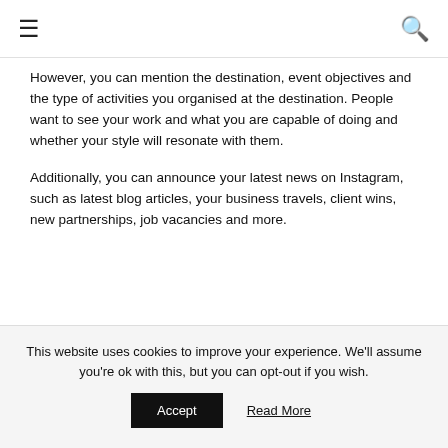≡  🔍
However, you can mention the destination, event objectives and the type of activities you organised at the destination. People want to see your work and what you are capable of doing and whether your style will resonate with them.
Additionally, you can announce your latest news on Instagram, such as latest blog articles, your business travels, client wins, new partnerships, job vacancies and more.
This website uses cookies to improve your experience. We'll assume you're ok with this, but you can opt-out if you wish. Accept Read More